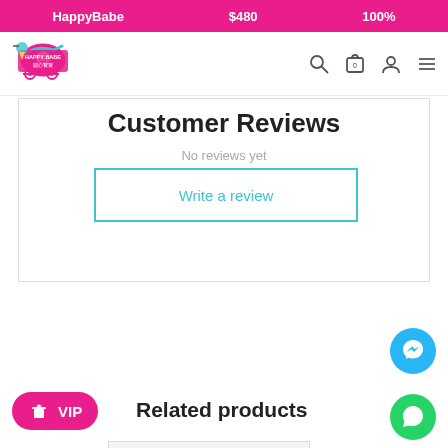HappyBabe   $480   100%
[Figure (logo): HappyBabe logo with baby carriage and Chinese text]
Customer Reviews
No reviews yet
Write a review
Related products